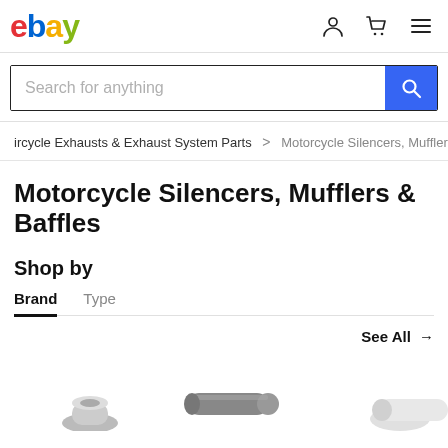ebay
Search for anything
ircycle Exhausts & Exhaust System Parts > Motorcycle Silencers, Mufflers &
Motorcycle Silencers, Mufflers & Baffles
Shop by
Brand  Type
See All →
[Figure (photo): Three motorcycle exhaust silencer/muffler parts shown at bottom of page]